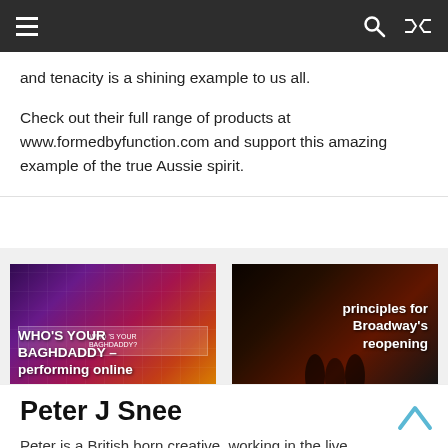Navigation bar with hamburger menu, search, and shuffle icons
and tenacity is a shining example to us all.

Check out their full range of products at www.formedbyfunction.com and support this amazing example of the true Aussie spirit.
[Figure (screenshot): Thumbnail image for 'WHO'S YOUR BAGHDADDY performing online' with colorful purple/pink background]
[Figure (screenshot): Thumbnail image for 'principles for Broadway's reopening' with dark stage background showing silhouetted performers]
Peter J Snee
Peter is a British born creative, working in the live